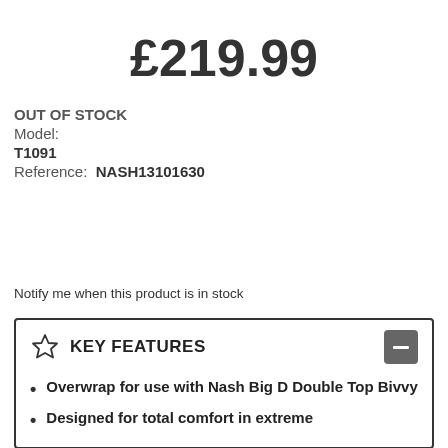£219.99
OUT OF STOCK
Model:
T1091
Reference:  NASH13101630
Notify me when this product is in stock
KEY FEATURES
Overwrap for use with Nash Big D Double Top Bivvy
Designed for total comfort in extreme